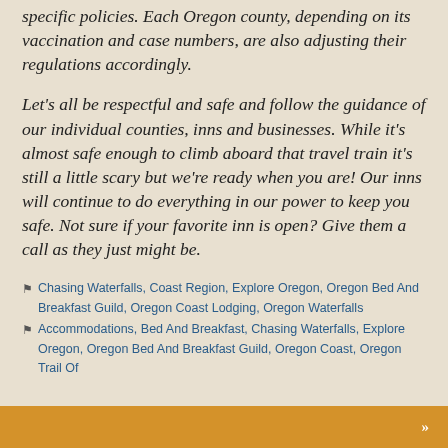specific policies. Each Oregon county, depending on its vaccination and case numbers, are also adjusting their regulations accordingly.
Let's all be respectful and safe and follow the guidance of our individual counties, inns and businesses. While it's almost safe enough to climb aboard that travel train it's still a little scary but we're ready when you are! Our inns will continue to do everything in our power to keep you safe. Not sure if your favorite inn is open? Give them a call as they just might be.
🏷 Chasing Waterfalls, Coast Region, Explore Oregon, Oregon Bed And Breakfast Guild, Oregon Coast Lodging, Oregon Waterfalls
🏷 Accommodations, Bed And Breakfast, Chasing Waterfalls, Explore Oregon, Oregon Bed And Breakfast Guild, Oregon Coast, Oregon Trail Of
»